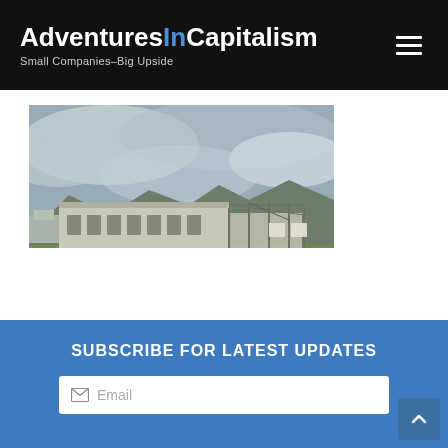Adventures In Capitalism – Small Companies–Big Upside
[Figure (photo): Photograph of an abandoned or partially constructed industrial building with exposed steel frame on the right side, surrounded by green grass fields, with mountains and overcast sky in the background.]
SUBSCRIBE FOR LATEST UPDATES
Email